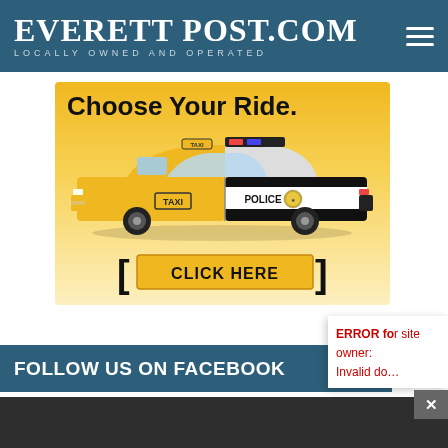EverettPost.com – Locally Owned and Operated
[Figure (illustration): Advertisement banner with orange/yellow gradient background showing a hybrid taxi/police car. Text reads 'Choose Your Ride.' with a 'CLICK HERE' button below.]
FOLLOW US ON FACEBOOK
ERROR for site owner: Invalid do…